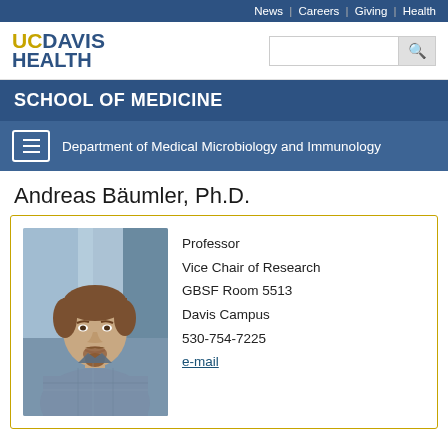News | Careers | Giving | Health
[Figure (logo): UC Davis Health logo with gold UC and navy DAVIS HEALTH text, plus a search box with magnifying glass icon]
SCHOOL OF MEDICINE
Department of Medical Microbiology and Immunology
Andreas Bäumler, Ph.D.
[Figure (photo): Professional headshot of Andreas Bäumler, a middle-aged man with brown hair and a goatee, wearing a plaid shirt, photographed in front of a blurred indoor background]
Professor
Vice Chair of Research
GBSF Room 5513
Davis Campus
530-754-7225
e-mail